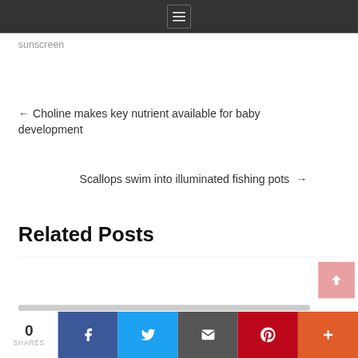sunscreen
← Choline makes key nutrient available for baby development
Scallops swim into illuminated fishing pots →
Related Posts
0 SHARES